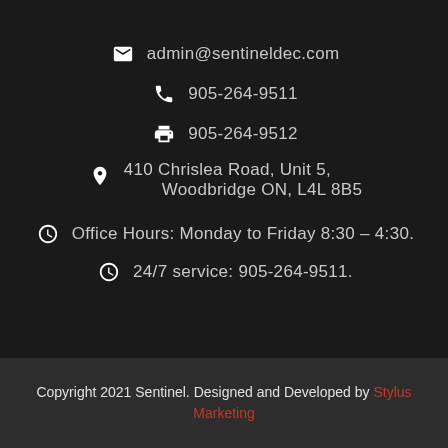admin@sentineldec.com
905-264-9511
905-264-9512
410 Chrislea Road, Unit 5, Woodbridge ON, L4L 8B5
Office Hours: Monday to Friday 8:30 – 4:30.
24/7 service: 905-264-9511.
Copyright 2021 Sentinel. Designed and Developed by Stylus Marketing